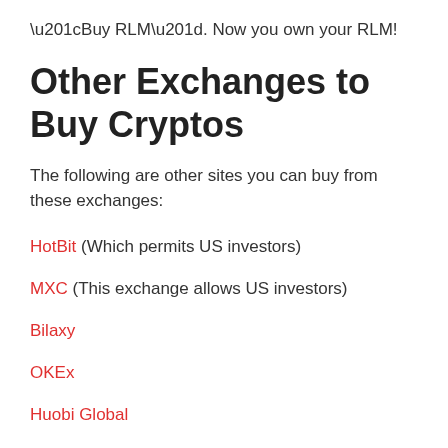“Buy RLM”. Now you own your RLM!
Other Exchanges to Buy Cryptos
The following are other sites you can buy from these exchanges:
HotBit (Which permits US investors)
MXC (This exchange allows US investors)
Bilaxy
OKEx
Huobi Global